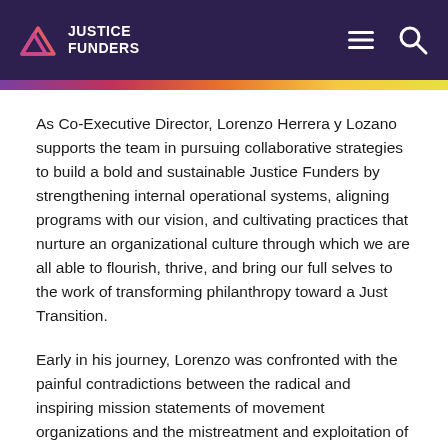JUSTICE FUNDERS
As Co-Executive Director, Lorenzo Herrera y Lozano supports the team in pursuing collaborative strategies to build a bold and sustainable Justice Funders by strengthening internal operational systems, aligning programs with our vision, and cultivating practices that nurture an organizational culture through which we are all able to flourish, thrive, and bring our full selves to the work of transforming philanthropy toward a Just Transition.
Early in his journey, Lorenzo was confronted with the painful contradictions between the radical and inspiring mission statements of movement organizations and the mistreatment and exploitation of their employees. Moved by the stories of heartbreak and loss of those who came before him, coupled with the heartbreak and loss he was experiencing, he rejected the practice of creating martyrs out of each other and of offering